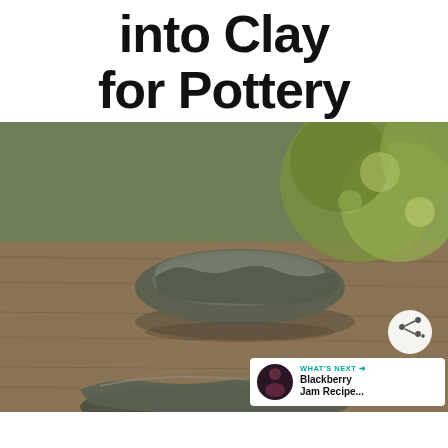Processing Soil into Clay for Pottery
[Figure (photo): Two small handmade clay bowls resting on a weathered wooden surface, with green foliage blurred in the background. A share button overlay and a 'What's Next' panel showing a Blackberry Jam Recipe thumbnail are visible.]